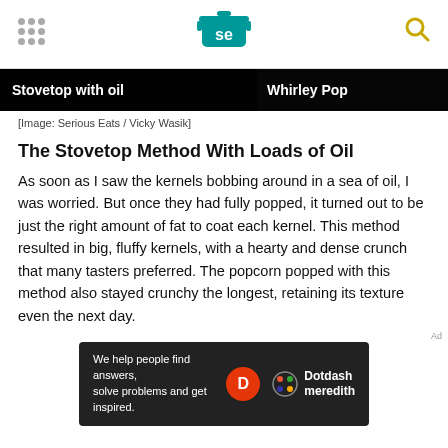SE logo header with navigation dots and search icon
[Figure (photo): Dark strip showing two image thumbnails with labels: 'Stovetop with oil' on the left and 'Whirley Pop' on the right]
[Image: Serious Eats / Vicky Wasik]
The Stovetop Method With Loads of Oil
As soon as I saw the kernels bobbing around in a sea of oil, I was worried. But once they had fully popped, it turned out to be just the right amount of fat to coat each kernel. This method resulted in big, fluffy kernels, with a hearty and dense crunch that many tasters preferred. The popcorn popped with this method also stayed crunchy the longest, retaining its texture even the next day.
[Figure (infographic): Ad banner: 'We help people find answers, solve problems and get inspired.' with Dotdash Meredith logo]